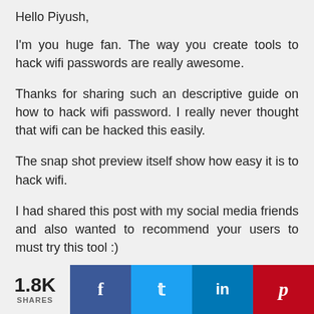Hello Piyush,
I'm you huge fan. The way you create tools to hack wifi passwords are really awesome.
Thanks for sharing such an descriptive guide on how to hack wifi password. I really never thought that wifi can be hacked this easily.
The snap shot preview itself show how easy it is to hack wifi.
I had shared this post with my social media friends and also wanted to recommend your users to must try this tool :)
1.8K SHARES | Facebook | Twitter | LinkedIn | Pinterest